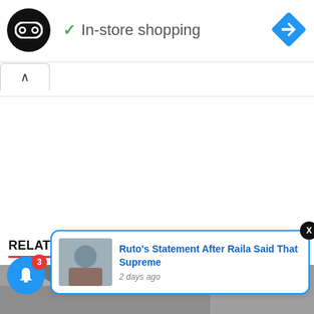[Figure (logo): Black circular logo with infinity/loop symbol in white]
✓ In-store shopping
[Figure (other): Blue diamond-shaped navigation arrow icon]
[Figure (other): Ad control icons: play and close (X) in cyan]
[Figure (other): Tab with up caret (^) indicating collapsed panel]
RELATED POSTS
[Figure (other): Notification popup with image of a man at podium showing: Ruto's Statement After Raila Said That Supreme — 2 days ago]
[Figure (other): Blue notification bell icon with red badge showing 3]
[Figure (photo): Partial photo of a man at bottom of page]